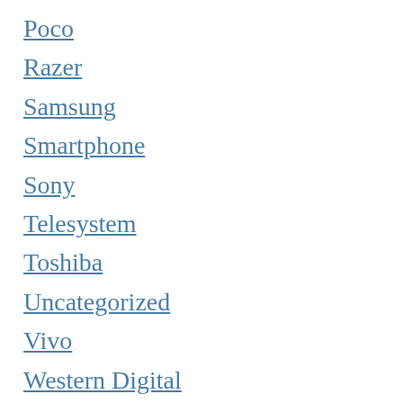Poco
Razer
Samsung
Smartphone
Sony
Telesystem
Toshiba
Uncategorized
Vivo
Western Digital
Wiko
Xiaomi
ZTE